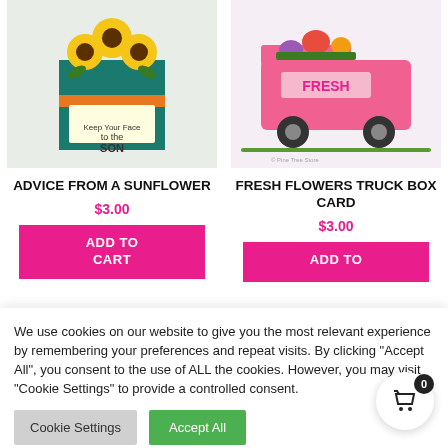[Figure (photo): Product image of a sunflower-themed box card]
[Figure (photo): Product image of a pink fresh flowers truck box card]
ADVICE FROM A SUNFLOWER
$3.00
ADD TO CART
FRESH FLOWERS TRUCK BOX CARD
$3.00
ADD TO
We use cookies on our website to give you the most relevant experience by remembering your preferences and repeat visits. By clicking “Accept All”, you consent to the use of ALL the cookies. However, you may visit “Cookie Settings” to provide a controlled consent.
Cookie Settings
Accept All